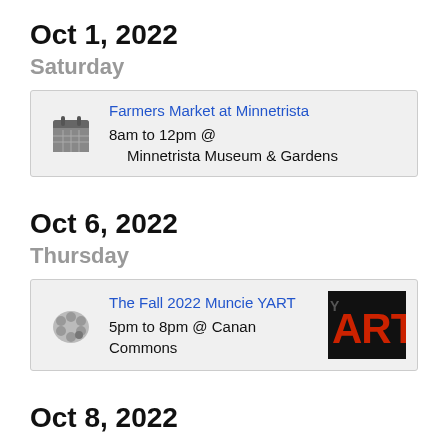Oct 1, 2022
Saturday
Farmers Market at Minnetrista
8am to 12pm @
Minnetrista Museum & Gardens
Oct 6, 2022
Thursday
The Fall 2022 Muncie YART
5pm to 8pm @ Canan Commons
Oct 8, 2022